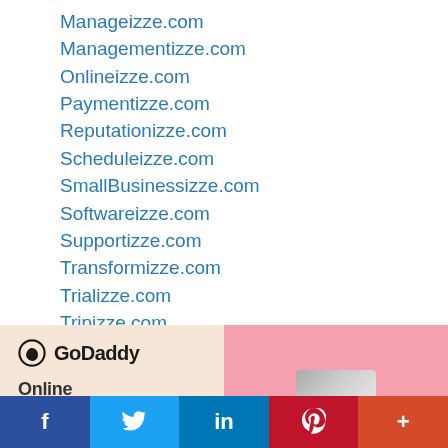Manageizze.com
Managementizze.com
Onlineizze.com
Paymentizze.com
Reputationizze.com
Scheduleizze.com
SmallBusinessizze.com
Softwareizze.com
Supportizze.com
Transformizze.com
Trializze.com
Tripizze.com
Websiteizze.com
[Figure (other): GoDaddy advertisement banner with pink right half]
f  Twitter  in  Pinterest  +